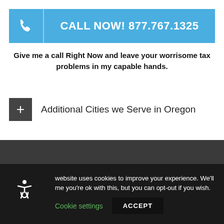CALL NOW! 877.767.1325
Give me a call Right Now and leave your worrisome tax problems in my capable hands.
Additional Cities we Serve in Oregon
TAX PROBLEMS   INFO ABOUT
website uses cookies to improve your experience. We'll me you're ok with this, but you can opt-out if you wish.
Cookie settings   ACCEPT